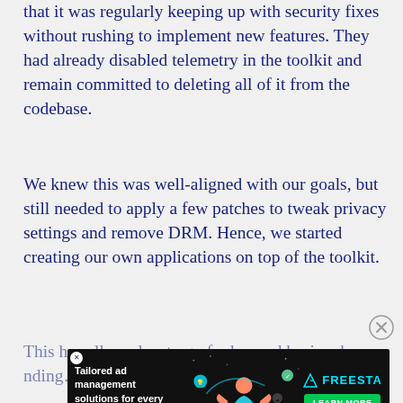that it was regularly keeping up with security fixes without rushing to implement new features. They had already disabled telemetry in the toolkit and remain committed to deleting all of it from the codebase.
We knew this was well-aligned with our goals, but still needed to apply a few patches to tweak privacy settings and remove DRM. Hence, we started creating our own applications on top of the toolkit.
This has allowed us to go far beyond basic rebra… before and create our own fully customized
[Figure (other): Advertisement banner for Freestar ad management platform with dark background, illustration of a person with digital icons, teal Freestar logo, and green 'LEARN MORE' button. Text reads 'Tailored ad management solutions for every publisher'.]